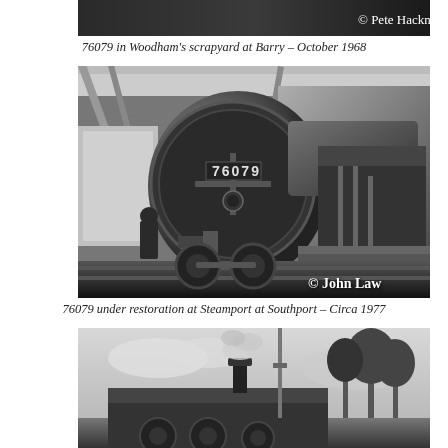[Figure (photo): Black and white photograph of steam locomotive 76079 in Woodham's scrapyard at Barry, October 1968. Shows top portion of locomotive with 'Pete Hackney' copyright.]
76079 in Woodham's scrapyard at Barry – October 1968
[Figure (photo): Black and white photograph of steam locomotive 76079 under restoration at Steamport at Southport, circa 1977. Front face of locomotive with number 76079 visible, inside a shed. Copyright John Law.]
76079 under restoration at Steamport at Southport – Circa 1977
[Figure (photo): Black and white photograph of steam locomotive 76079 in steam, partially visible at bottom of page.]